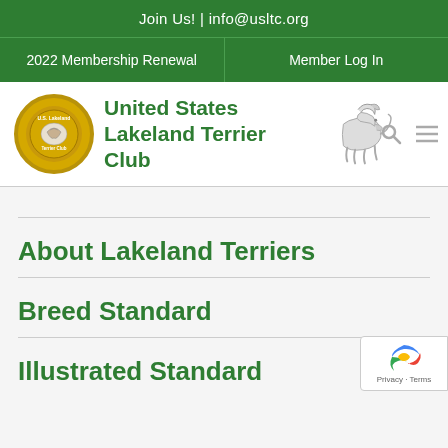Join Us!  |  info@usltc.org
2022 Membership Renewal  |  Member Log In
[Figure (logo): United States Lakeland Terrier Club logo with circular gold badge and dog illustration]
About Lakeland Terriers
Breed Standard
Illustrated Standard